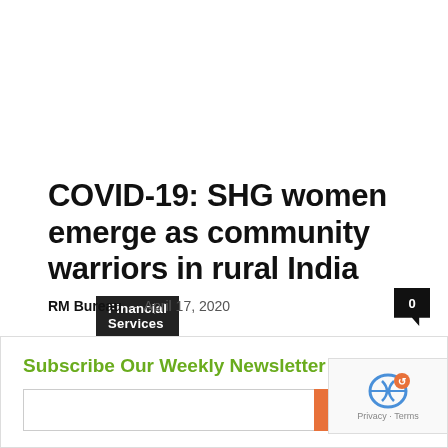Financial Services
COVID-19: SHG women emerge as community warriors in rural India
RM Bureau – April 17, 2020
0
1  2  >
Subscribe Our Weekly Newsletter
Join Now